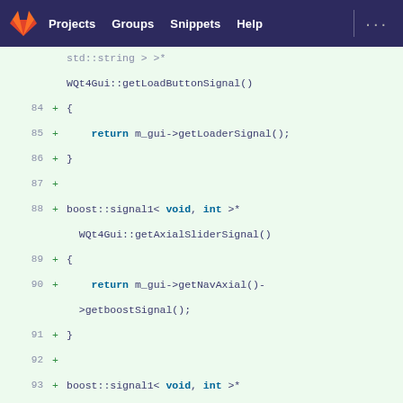GitLab navigation bar: Projects, Groups, Snippets, Help
[Figure (screenshot): GitLab code diff view showing C++ source lines 84-98 with added lines (green +) including getLoadButtonSignal, getAxialSliderSignal, getNavAxial()->getboostSignal(), getCoronalSliderSignal, getNavCoronal()->getboostSignal() function bodies using boost::signal1<void,int>*]